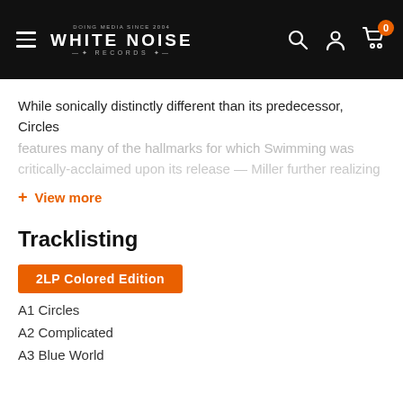WHITE NOISE RECORDS
While sonically distinctly different than its predecessor, Circles features many of the hallmarks for which Swimming was critically-acclaimed upon its release — Miller further realizing
+ View more
Tracklisting
2LP Colored Edition
A1 Circles
A2 Complicated
A3 Blue World